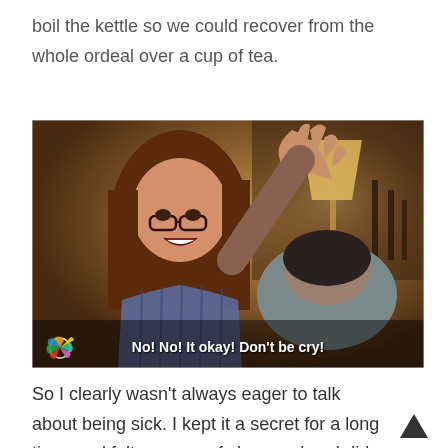boil the kettle so we could recover from the whole ordeal over a cup of tea.
[Figure (screenshot): TV screenshot showing a woman with glasses laughing and raising her hand toward a man who is bowing his head. Subtitle reads: 'No! No! It okay! Don't be cry!' with an NBC peacock logo in the bottom left.]
So I clearly wasn't always eager to talk about being sick. I kept it a secret for a long time, and felt a sense of shame when I did say something. I felt like it was associated with a